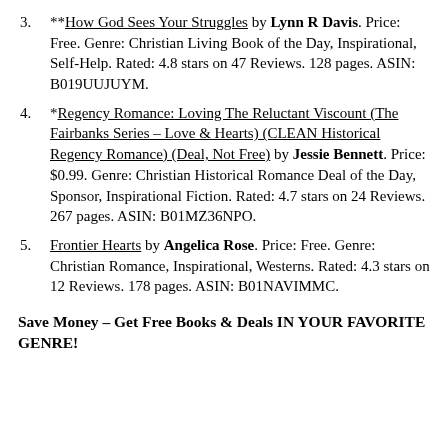**How God Sees Your Struggles by Lynn R Davis. Price: Free. Genre: Christian Living Book of the Day, Inspirational, Self-Help. Rated: 4.8 stars on 47 Reviews. 128 pages. ASIN: B019UUJUYM.
*Regency Romance: Loving The Reluctant Viscount (The Fairbanks Series – Love & Hearts) (CLEAN Historical Regency Romance) (Deal, Not Free) by Jessie Bennett. Price: $0.99. Genre: Christian Historical Romance Deal of the Day, Sponsor, Inspirational Fiction. Rated: 4.7 stars on 24 Reviews. 267 pages. ASIN: B01MZ36NPO.
Frontier Hearts by Angelica Rose. Price: Free. Genre: Christian Romance, Inspirational, Westerns. Rated: 4.3 stars on 12 Reviews. 178 pages. ASIN: B01NAVIMMC.
Save Money – Get Free Books & Deals IN YOUR FAVORITE GENRE!